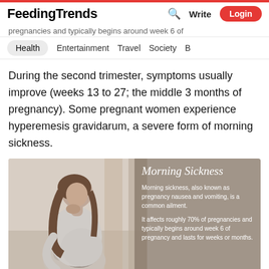FeedingTrends — Search | Write | Login
pregnancies and typically begins around week 6 of
Health | Entertainment | Travel | Society | B
During the second trimester, symptoms usually improve (weeks 13 to 27; the middle 3 months of pregnancy). Some pregnant women experience hyperemesis gravidarum, a severe form of morning sickness.
[Figure (photo): Pregnant woman holding her hand to her mouth and her belly, appearing nauseous. Overlaid with a taupe/brown semi-transparent panel showing 'Morning Sickness' text in italic and information: Morning sickness, also known as pregnancy nausea and vomiting, is a common ailment. It affects roughly 70% of pregnancies and typically begins around week 6 of pregnancy and lasts for weeks or months.]